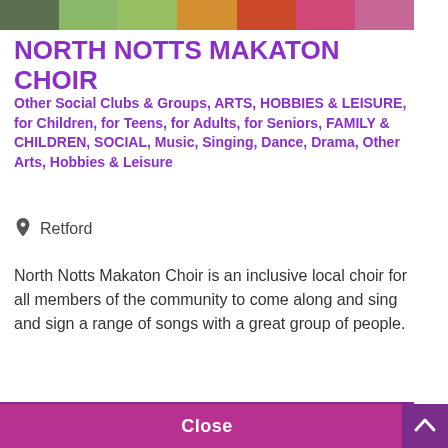[Figure (photo): Horizontal strip of colorful group photos at the top of the page]
NORTH NOTTS MAKATON CHOIR
Other Social Clubs & Groups, ARTS, HOBBIES & LEISURE, for Children, for Teens, for Adults, for Seniors, FAMILY & CHILDREN, SOCIAL, Music, Singing, Dance, Drama, Other Arts, Hobbies & Leisure
Retford
North Notts Makaton Choir is an inclusive local choir for all members of the community to come along and sing and sign a range of songs with a great group of people.
This website uses cookies to ensure you get the best experience on our website.
Learn more
Close
[Figure (photo): Bottom image strip showing outdoor/nature scene]